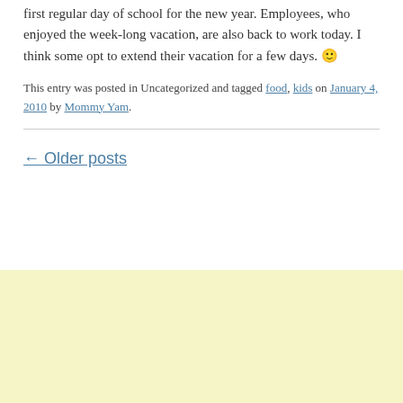first regular day of school for the new year. Employees, who enjoyed the week-long vacation, are also back to work today. I think some opt to extend their vacation for a few days. 🙂
This entry was posted in Uncategorized and tagged food, kids on January 4, 2010 by Mommy Yam.
← Older posts